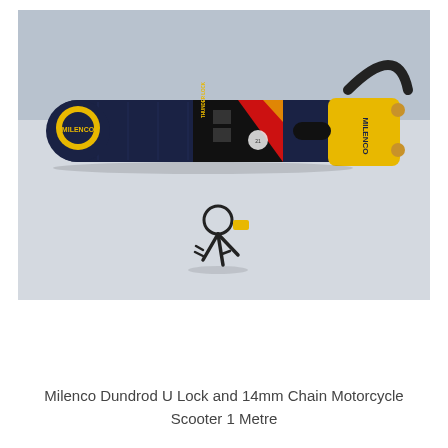[Figure (photo): A Milenco Dundrod U Lock and 14mm chain motorcycle lock. The chain is in a dark blue fabric sleeve with black and yellow/red packaging label visible. The U-lock shackle has a yellow housing with 'MILENCO' text. Three keys with a yellow tag are placed below the chain lock. All items are laid out on a light grey surface.]
Milenco Dundrod U Lock and 14mm Chain Motorcycle Scooter 1 Metre